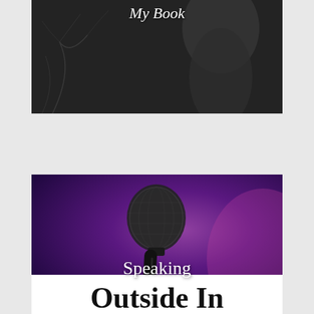[Figure (photo): Dark moody photograph (partially cropped at top) with text overlay reading 'My Book' in italic serif white font. Appears to show a person in dark clothing with decorative branch/tree elements.]
[Figure (photo): Photograph of a microphone on a stand against a purple/violet blurred background, with text overlay reading 'Speaking' in white serif font.]
[Figure (photo): White card partially visible at the bottom with large bold serif text reading 'Outside In' (partially cropped).]